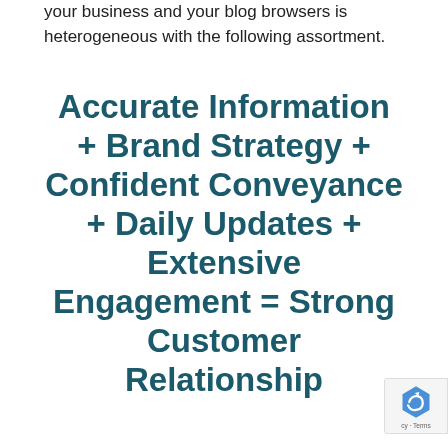your business and your blog browsers is heterogeneous with the following assortment.